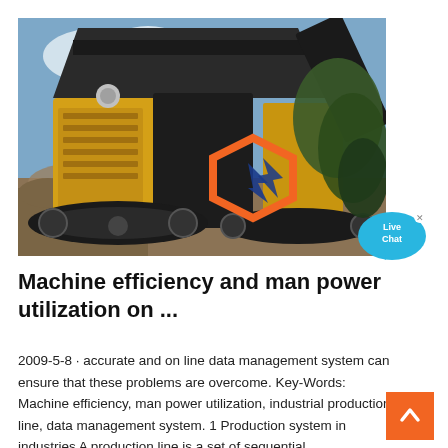[Figure (photo): Large yellow industrial rock crusher / screening machine on tracks, photographed outdoors against a cloudy blue sky, with orange and blue hexagonal logo overlay on the right side of the image.]
Machine efficiency and man power utilization on ...
2009-5-8 · accurate and on line data management system can ensure that these problems are overcome. Key-Words: Machine efficiency, man power utilization, industrial production line, data management system. 1 Production system in industries A production line is a set of sequential